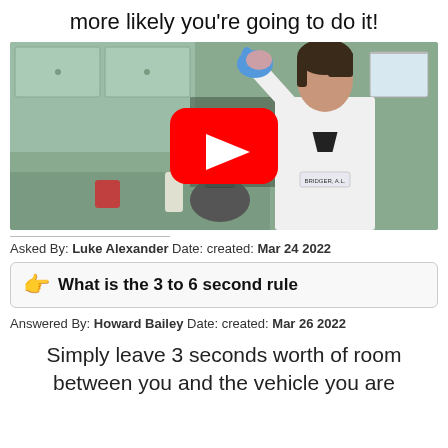more likely you're going to do it!
[Figure (screenshot): YouTube video thumbnail showing a woman in a white lab coat holding up a pink glove in a kitchen/lab setting, with a YouTube play button overlay in the center]
Asked By: Luke Alexander Date: created: Mar 24 2022
What is the 3 to 6 second rule
Answered By: Howard Bailey Date: created: Mar 26 2022
Simply leave 3 seconds worth of room between you and the vehicle you are